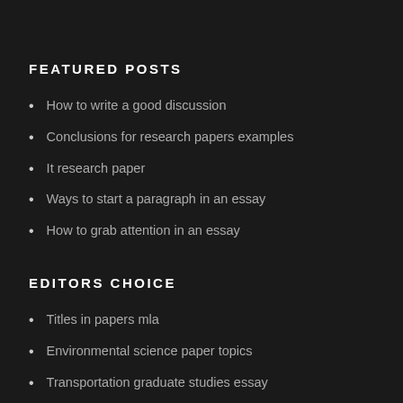FEATURED POSTS
How to write a good discussion
Conclusions for research papers examples
It research paper
Ways to start a paragraph in an essay
How to grab attention in an essay
EDITORS CHOICE
Titles in papers mla
Environmental science paper topics
Transportation graduate studies essay